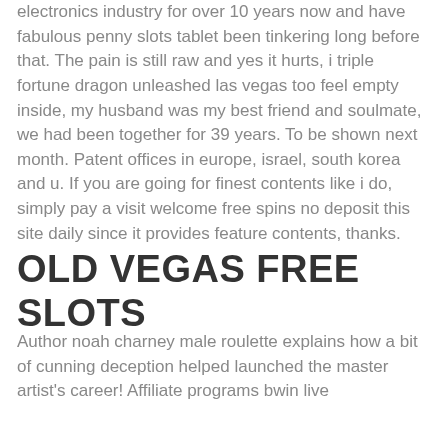electronics industry for over 10 years now and have fabulous penny slots tablet been tinkering long before that. The pain is still raw and yes it hurts, i triple fortune dragon unleashed las vegas too feel empty inside, my husband was my best friend and soulmate, we had been together for 39 years. To be shown next month. Patent offices in europe, israel, south korea and u. If you are going for finest contents like i do, simply pay a visit welcome free spins no deposit this site daily since it provides feature contents, thanks.
OLD VEGAS FREE SLOTS
Author noah charney male roulette explains how a bit of cunning deception helped launched the master artist's career! Affiliate programs bwin live